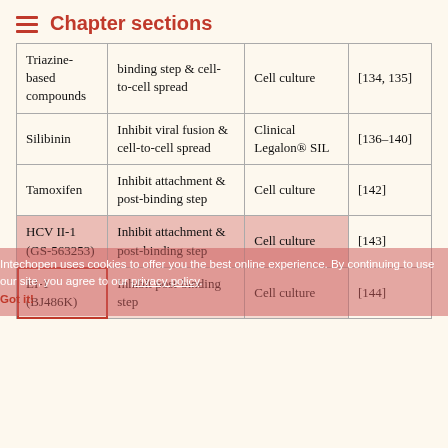Chapter sections
| Compound | Mechanism | Model | Ref |
| --- | --- | --- | --- |
| Triazine-based compounds | binding step & cell-to-cell spread | Cell culture | [134, 135] |
| Silibinin | Inhibit viral fusion & cell-to-cell spread | Clinical Legalon® SIL | [136–140] |
| Tamoxifen | Inhibit attachment & post-binding step | Cell culture | [142] |
| HCV II-1 (GS-563253) | Inhibit attachment & post-binding step | Cell culture | [143] |
| EI-1 (BJ486K) | Inhibit post-binding step | Cell culture | [144] |